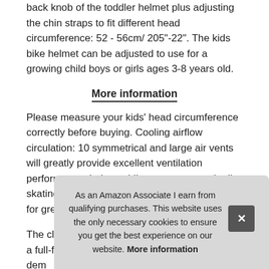back knob of the toddler helmet plus adjusting the chin straps to fit different head circumference: 52 - 56cm/ 205"-22". The kids bike helmet can be adjusted to use for a growing child boys or girls ages 3-8 years old.
More information
Please measure your kids' head circumference correctly before buying. Cooling airflow circulation: 10 symmetrical and large air vents will greatly provide excellent ventilation performance, balance bikes, scooters and roller skating, BMX, leading airflow around the head for great heat dissipation.
The clip-on chin bar is easy to convert between a full-face helm... dem... chin... and... urge...
As an Amazon Associate I earn from qualifying purchases. This website uses the only necessary cookies to ensure you get the best experience on our website. More information